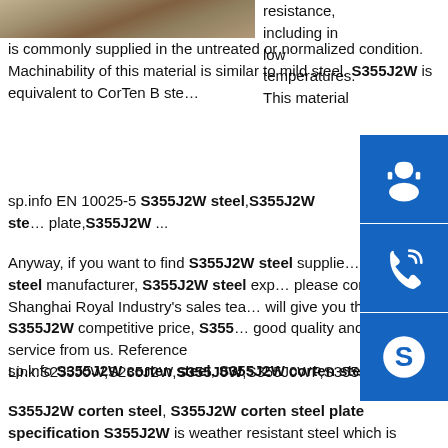[Figure (photo): Photo of steel plate material, partially visible at top left]
resistance, including in low temperatures. This material is commonly supplied in the untreated or normalized condition. Machinability of this material is similar to mild steel. S355J2W is equivalent to CorTen B ste…
[Figure (infographic): Blue sidebar icons: headset/customer service, phone, Skype]
sp.info EN 10025-5 S355J2W steel,S355J2W steel plate,S355J2W ...
Anyway, if you want to find S355J2W steel supplier, S355J2W steel manufacturer, S355J2W steel exporter, please contact Shanghai Royal Industry's sales team, will give you the S355J2W competitive price, S355J2W good quality and best service from us. Reference Link:S235J0W,S235J2W,S355J0W,S355J0WP,S355J2WP,S…
sp.info S355J2W corten steel, S355J2W corten steel plate ...
S355J2W corten steel, S355J2W corten steel plate specification S355J2W is weather resistant steel which is intended for use in load bearing or heavy structures due to